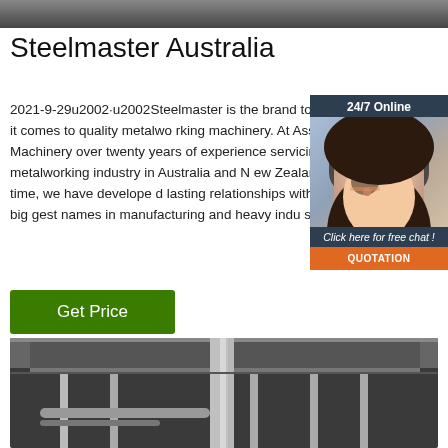[Figure (photo): Top cropped industrial/machinery photo banner]
Steelmaster Australia
2021-9-29u2002·u2002Steelmaster is the brand to expect when it comes to quality metalworking machinery. At Asset Plant and Machinery over twenty years of experience servicing metalworking industry in Australia and New Zealand. In that time, we have developed lasting relationships with some of the biggest names in manufacturing and heavy industry.
[Figure (infographic): 24/7 Online chat widget with woman wearing headset, 'Click here for free chat!' text, and QUOTATION button]
Get Price
[Figure (photo): Bottom industrial factory/warehouse interior photo]